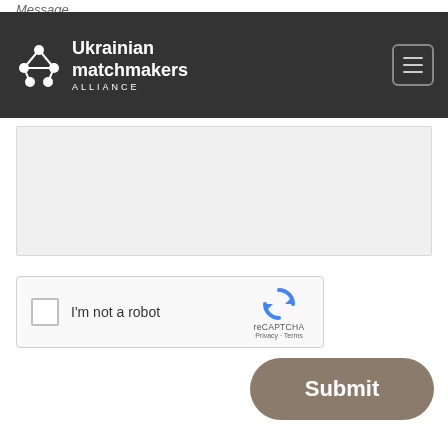Ukrainian matchmakers ALLIANCE
Message
[Figure (screenshot): Empty message text area input field with light gray background]
[Figure (screenshot): reCAPTCHA widget with checkbox labeled I'm not a robot, reCAPTCHA logo, Privacy and Terms links]
Submit